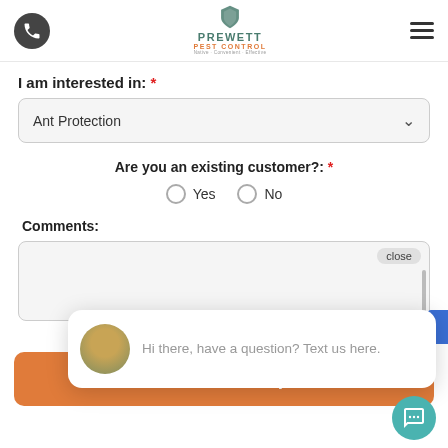[Figure (logo): Prewett Pest Control logo with shield icon, company name in teal, 'PEST CONTROL' in orange, tagline 'Native · Convenient · Effective']
I am interested in: *
Ant Protection
Are you an existing customer?: *
Yes   No
Comments:
close
Hi there, have a question? Text us here.
Schedule FREE Inspection
Terms